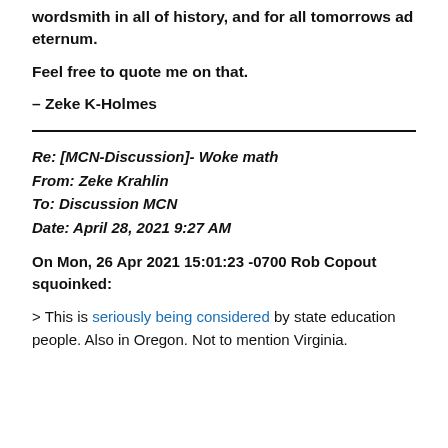wordsmith in all of history, and for all tomorrows ad eternum.
Feel free to quote me on that.
– Zeke K-Holmes
Re: [MCN-Discussion]- Woke math
From: Zeke Krahlin
To: Discussion MCN
Date: April 28, 2021 9:27 AM
On Mon, 26 Apr 2021 15:01:23 -0700 Rob Copout squoinked:
> This is seriously being considered by state education people. Also in Oregon. Not to mention Virginia.